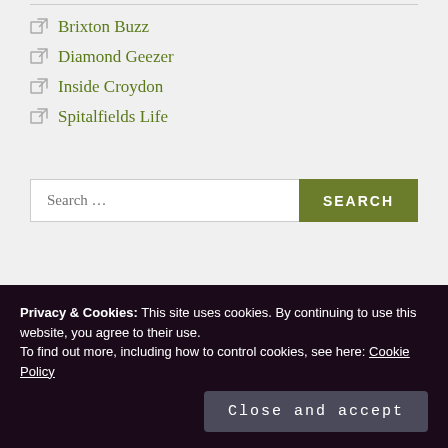Brixton Buzz
Diamond Geezer
Inside Croydon
Spitalfields Life
Search ...
SEARCH
Privacy & Cookies: This site uses cookies. By continuing to use this website, you agree to their use.
To find out more, including how to control cookies, see here: Cookie Policy
Close and accept